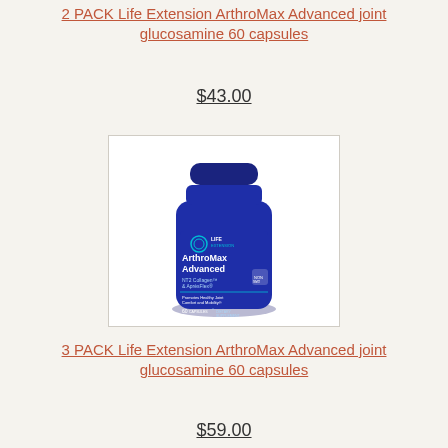2 PACK Life Extension ArthroMax Advanced joint glucosamine 60 capsules
$43.00
[Figure (photo): Blue bottle of Life Extension ArthroMax Advanced NT2 Collagen & ApresFlex dietary supplement, 60 capsules, promotes healthy joint comfort and mobility]
3 PACK Life Extension ArthroMax Advanced joint glucosamine 60 capsules
$59.00